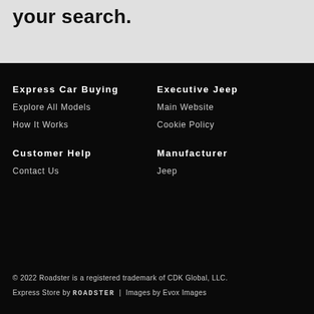your search.
Express Car Buying
Explore All Models
How It Works
Executive Jeep
Main Website
Cookie Policy
Customer Help
Contact Us
Manufacturer
Jeep
© 2022 Roadster is a registered trademark of CDK Global, LLC. Express Store by ROADSTER  |  Images by Evox Images